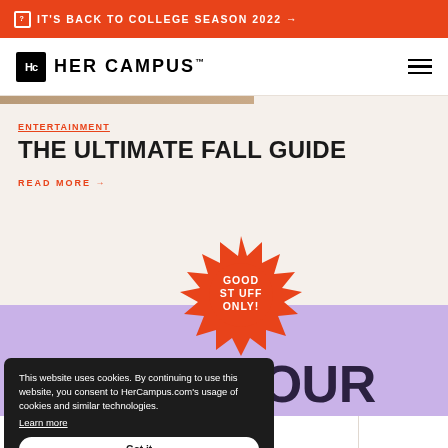IT'S BACK TO COLLEGE SEASON 2022 →
[Figure (logo): HER CAMPUS logo with Hc icon box]
ENTERTAINMENT
THE ULTIMATE FALL GUIDE
READ MORE →
[Figure (illustration): Orange spiky starburst badge with text GOOD STUFF ONLY!]
DE INTO YOUR
This website uses cookies. By continuing to use this website, you consent to HerCampus.com's usage of cookies and similar technologies. Learn more Got it